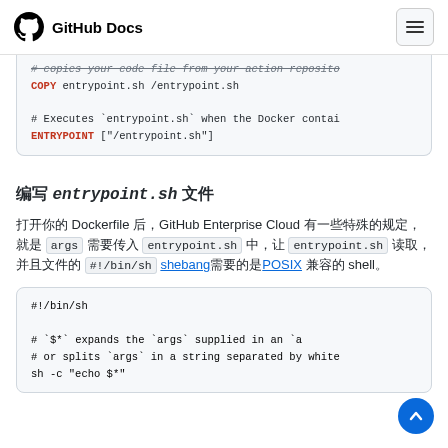GitHub Docs
# copies your code file from your action reposito
COPY entrypoint.sh /entrypoint.sh

# Executes `entrypoint.sh` when the Docker contai
ENTRYPOINT ["/entrypoint.sh"]
编写 entrypoint.sh 文件
打开你的 Dockerfile 后，GitHub Enterprise Cloud 有一些特殊的规定，就是 args 需要传入 entrypoint.sh 中，让 entrypoint.sh 读取，并且文件的 #!/bin/sh shebang需要的是POSIX 兼容的 shell。
#!/bin/sh

# `$*` expands the `args` supplied in an `a
# or splits `args` in a string separated by white
sh -c "echo $*"